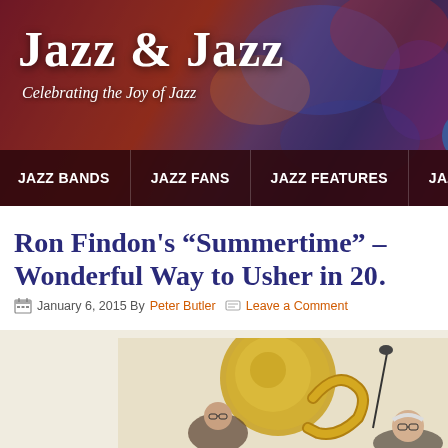Jazz & Jazz — Celebrating the Joy of Jazz
Ron Findon's "Summertime" – Wonderful Way to Usher in 20…
January 6, 2015 By Peter Butler   Leave a Comment
[Figure (photo): Two musicians on stage, one playing a large brass instrument (tuba/sousaphone) and another elderly man with glasses at a microphone]